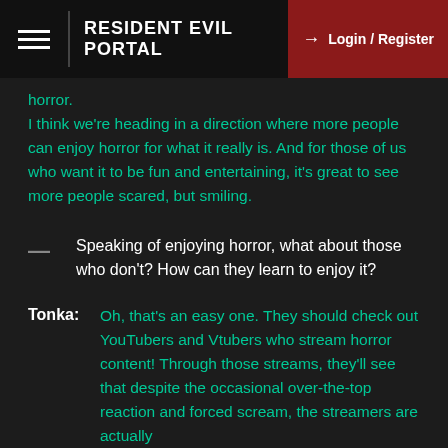RESIDENT EVIL PORTAL | Login / Register
horror.
I think we're heading in a direction where more people can enjoy horror for what it really is. And for those of us who want it to be fun and entertaining, it's great to see more people scared, but smiling.
Speaking of enjoying horror, what about those who don't? How can they learn to enjoy it?
Tonka: Oh, that's an easy one. They should check out YouTubers and Vtubers who stream horror content! Through those streams, they'll see that despite the occasional over-the-top reaction and forced scream, the streamers are actually